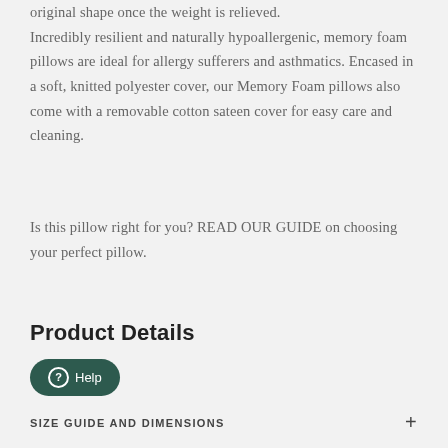original shape once the weight is relieved. Incredibly resilient and naturally hypoallergenic, memory foam pillows are ideal for allergy sufferers and asthmatics. Encased in a soft, knitted polyester cover, our Memory Foam pillows also come with a removable cotton sateen cover for easy care and cleaning.
Is this pillow right for you? READ OUR GUIDE on choosing your perfect pillow.
Product Details
SIZE GUIDE AND DIMENSIONS